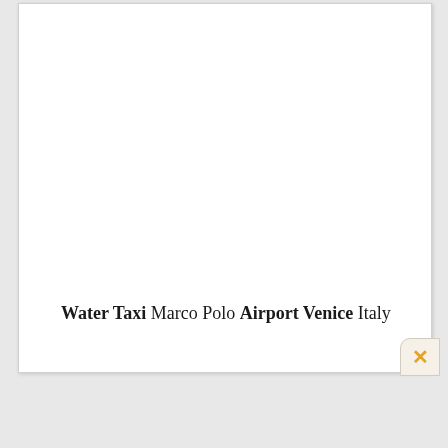Water Taxi Marco Polo Airport Venice Italy